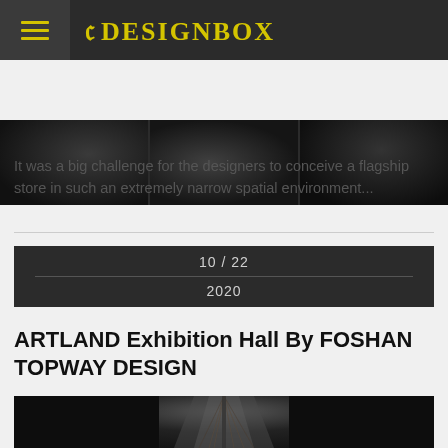8DESIGNBOX
[Figure (photo): Three dark architectural interior photos in a horizontal strip showing abstract dark curved forms]
It was a big challenge for the designers to conceive a flagship store in such an extremely narrow spatial environment...
10 / 22
2020
ARTLAND Exhibition Hall By FOSHAN TOPWAY DESIGN
[Figure (photo): Interior photo of an exhibition hall with dramatic lighting, dark walls, and a large sculptural wire chandelier hanging from the ceiling]